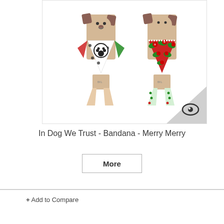[Figure (photo): Two dog bandana products displayed on cardboard hangers shaped like dogs. Left one features a black and white polka dot bandana with a paw print circle. Right one features a red and green Christmas floral bandana. Bottom right corner has an eye logo watermark on a grey triangle.]
In Dog We Trust - Bandana - Merry Merry
More
+ Add to Compare